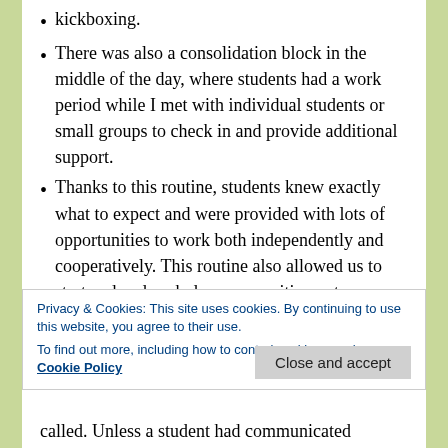kickboxing.
There was also a consolidation block in the middle of the day, where students had a work period while I met with individual students or small groups to check in and provide additional support.
Thanks to this routine, students knew exactly what to expect and were provided with lots of opportunities to work both independently and cooperatively. This routine also allowed us to start and end each day on a positive note.
Camera/Microphone:
Another important aspect was establishing
Privacy & Cookies: This site uses cookies. By continuing to use this website, you agree to their use.
To find out more, including how to control cookies, see here: Cookie Policy
called. Unless a student had communicated